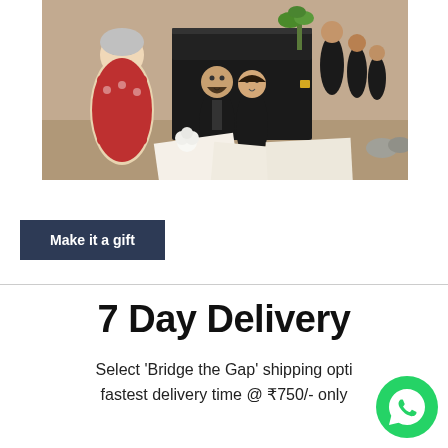[Figure (photo): Product photo showing custom painted wooden dolls (matryoshka-style figures of family members), a black gift box, scattered photos, and a white rose on a warm beige background.]
Make it a gift
7 Day Delivery
Select 'Bridge the Gap' shipping opti fastest delivery time @ ₹750/- only